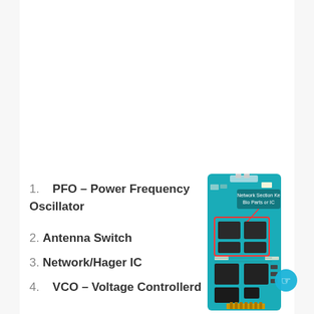1.   PFO – Power Frequency Oscillator
2. Antenna Switch
3. Network/Hager IC
4.   VCO – Voltage Controllerd Oscillator
[Figure (photo): PCB circuit board image showing network section with labeled components including ICs and chips. Text annotation reads: Network Section Ke Bio Parts or IC]